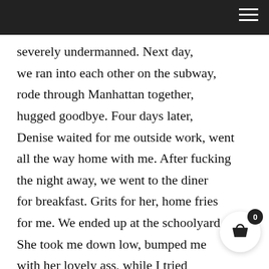severely undermanned. Next day,
we ran into each other on the subway,
rode through Manhattan together,
hugged goodbye. Four days later,
Denise waited for me outside work, went
all the way home with me. After fucking
the night away, we went to the diner
for breakfast. Grits for her, home fries
for me. We ended up at the schoolyard.
She took me down low, bumped me
with her lovely ass, while I tried
to ignore my hard on. I kept the score
close, but always won. She was younger,
I was older. I had money, she had none.